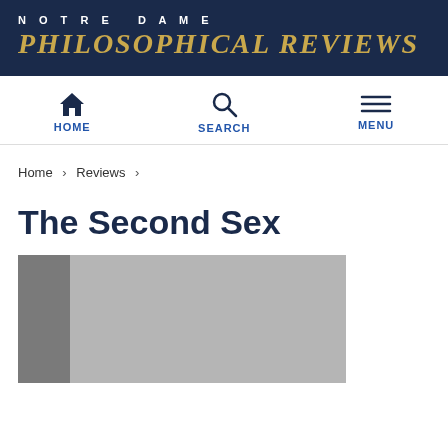NOTRE DAME PHILOSOPHICAL REVIEWS
HOME  SEARCH  MENU
Home › Reviews ›
The Second Sex
[Figure (photo): Book cover image of The Second Sex, showing a gray/silver book cover with a darker spine on the left side]